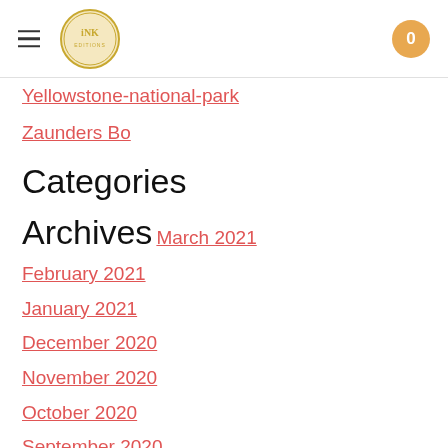INK logo | menu | cart: 0
Yellowstone-national-park
Zaunders Bo
Categories
Archives
March 2021
February 2021
January 2021
December 2020
November 2020
October 2020
September 2020
June 2020
May 2020
April 2020